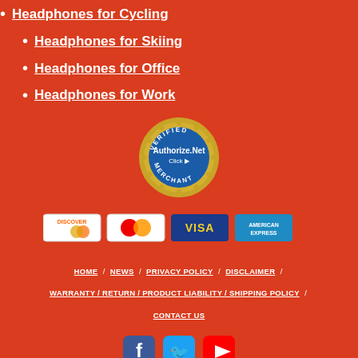Headphones for Cycling
Headphones for Skiing
Headphones for Office
Headphones for Work
[Figure (logo): Authorize.Net Verified Merchant badge - gold circular seal with blue text]
[Figure (infographic): Row of four payment card logos: Discover, Mastercard, Visa, American Express]
HOME / NEWS / PRIVACY POLICY / DISCLAIMER / WARRANTY / RETURN / PRODUCT LIABILITY / SHIPPING POLICY / CONTACT US
[Figure (infographic): Social media icons: Facebook, Twitter, YouTube]